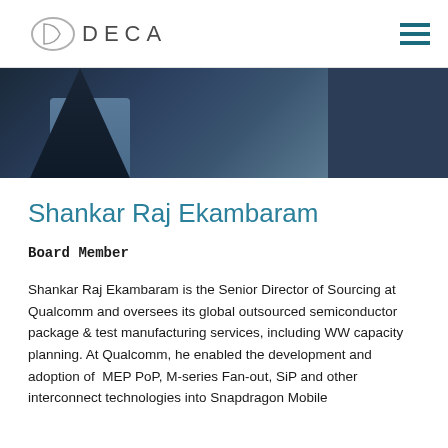DECA
[Figure (photo): Partial photo of a person in a dark suit with a blue-grey shirt, cropped to show torso/lower face area against a dark background]
Shankar Raj Ekambaram
Board Member
Shankar Raj Ekambaram is the Senior Director of Sourcing at Qualcomm and oversees its global outsourced semiconductor package & test manufacturing services, including WW capacity planning. At Qualcomm, he enabled the development and adoption of MEP PoP, M-series Fan-out, SiP and other interconnect technologies into Snapdragon Mobile